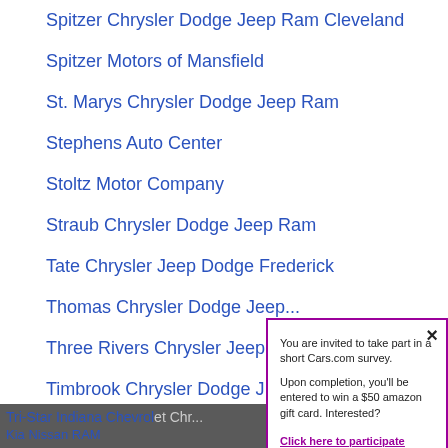Spitzer Chrysler Dodge Jeep Ram Cleveland
Spitzer Motors of Mansfield
St. Marys Chrysler Dodge Jeep Ram
Stephens Auto Center
Stoltz Motor Company
Straub Chrysler Dodge Jeep Ram
Tate Chrysler Jeep Dodge Frederick
Thomas Chrysler Dodge Je...
Three Rivers Chrysler Jeep...
Timbrook Chrysler Dodge J...
Tri Star Chrysler Dodge Jee...
Tri Star Chrysler Dodge Jeep R...
Tri-Star Indiana Chevrolet Chr... Kia Nissan RAM
You are invited to take part in a short Cars.com survey. Upon completion, you'll be entered to win a $50 amazon gift card. Interested?
Click here to participate
▲ Back t...